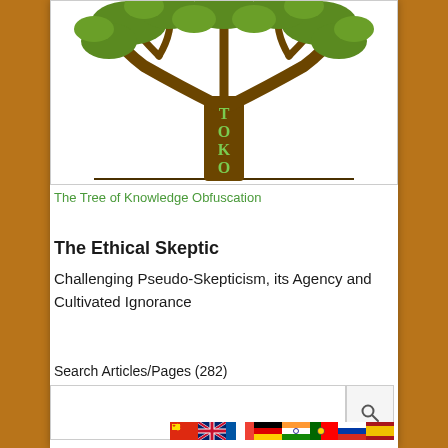[Figure (logo): Tree of Knowledge Obfuscation (TOKO) logo — a tree with green foliage and brown trunk/branches, with the letters T, O, K, O displayed on the trunk and base in green serif font]
The Tree of Knowledge Obfuscation
The Ethical Skeptic
Challenging Pseudo-Skepticism, its Agency and Cultivated Ignorance
Search Articles/Pages (282)